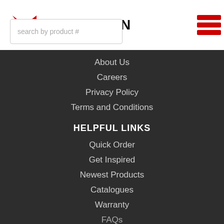[Figure (logo): Marathon logo with red and grey M chevron icon and MARATHON wordmark in black]
search by product #
About Us
Careers
Privacy Policy
Terms and Conditions
HELPFUL LINKS
Quick Order
Get Inspired
Newest Products
Catalogues
Warranty
FAQs